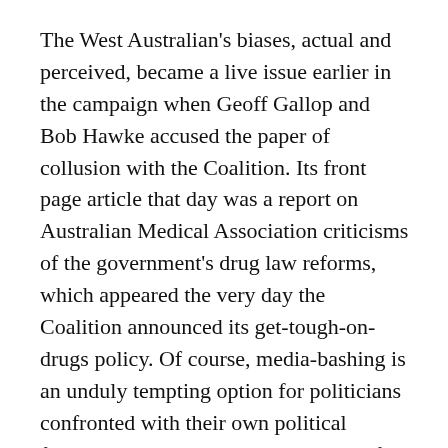The West Australian's biases, actual and perceived, became a live issue earlier in the campaign when Geoff Gallop and Bob Hawke accused the paper of collusion with the Coalition. Its front page article that day was a report on Australian Medical Association criticisms of the government's drug law reforms, which appeared the very day the Coalition announced its get-tough-on-drugs policy. Of course, media-bashing is an unduly tempting option for politicians confronted with their own political failings, and Labor must wear much of the blame for its apparent failure to neutralise the canal issue with all the ammunition available to it. Many who did not